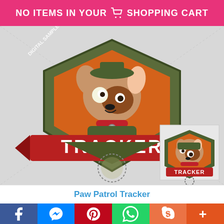NO ITEMS IN YOUR SHOPPING CART
[Figure (photo): C2C crochet graph pattern of Paw Patrol character Tracker - a chihuahua dog on a pixelated badge with orange background, red banner with text TRACKER, and a badge emblem at the bottom. A smaller inset image in bottom-right shows the cartoon character Tracker on his badge.]
Paw Patrol Tracker
[Figure (infographic): Social media sharing bar with buttons: Facebook (blue), Messenger (blue), Pinterest (red), WhatsApp (green), Skype (orange), and More (orange-red)]